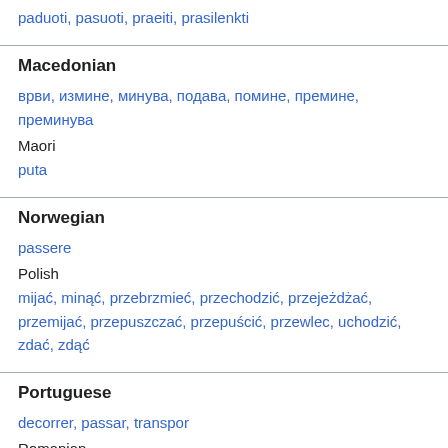paduoti, pasuoti, praeiti, prasilenkti
Macedonian
врви, измине, минува, подава, помине, премине, преминува
Maori
puta
Norwegian
passere
Polish
mijać, minąć, przebrzmieć, przechodzić, przejeżdżać, przemijać, przepuszczać, przepuścić, przewlec, uchodzić, zdać, zdąć
Portuguese
decorrer, passar, transpor
Romanian